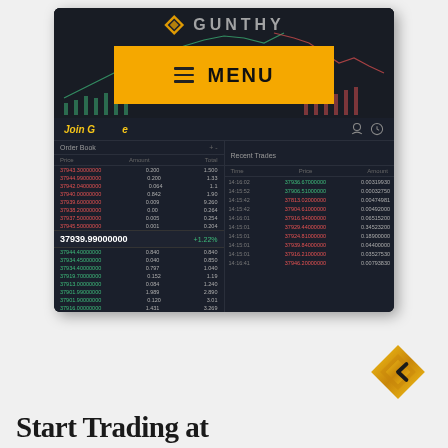[Figure (screenshot): Gunthy cryptocurrency trading platform screenshot showing Order Book and Recent Trades panels with a MENU overlay button on a dark-themed trading interface with chart]
[Figure (logo): Gunthy diamond-shaped logo in gold/amber color]
Start Trading at